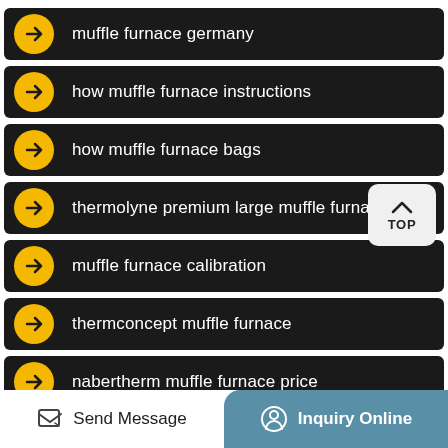muffle furnace germany
how muffle furnace instructions
how muffle furnace bags
thermolyne premium large muffle furnaces
muffle furnace calibration
thermconcept muffle furnace
nabertherm muffle furnace price
Send Message
Inquiry Online